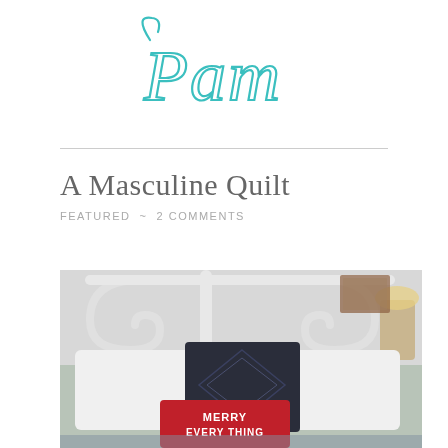[Figure (logo): Cursive script logo reading 'Pam' in turquoise/teal color]
A Masculine Quilt
FEATURED ~ 2 COMMENTS
[Figure (photo): Bedroom scene with white iron headboard, white pillows, a dark navy/grey patterned pillow with diamond quilting, and a red pillow reading 'MERRY EVERY THING']